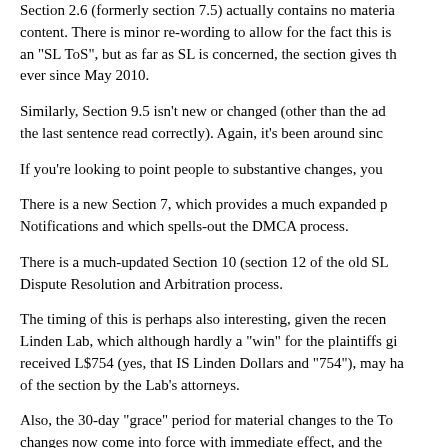Section 2.6 (formerly section 7.5) actually contains no material content. There is minor re-wording to allow for the fact this is an "SL ToS", but as far as SL is concerned, the section gives the ever since May 2010.
Similarly, Section 9.5 isn't new or changed (other than the ad the last sentence read correctly). Again, it's been around sinc
If you're looking to point people to substantive changes, you
There is a new Section 7, which provides a much expanded p Notifications and which spells-out the DMCA process.
There is a much-updated Section 10 (section 12 of the old SL Dispute Resolution and Arbitration process.
The timing of this is perhaps also interesting, given the recen Linden Lab, which although hardly a "win" for the plaintiffs gi received L$754 (yes, that IS Linden Dollars and "754"), may ha of the section by the Lab's attorneys.
Also, the 30-day "grace" period for material changes to the To changes now come into force with immediate effect, and the any other notification of changes, other than presenting the and services to which it applies.
In the case of SL, this most likely means no more LL blog post ToS, or any other with this content changes.